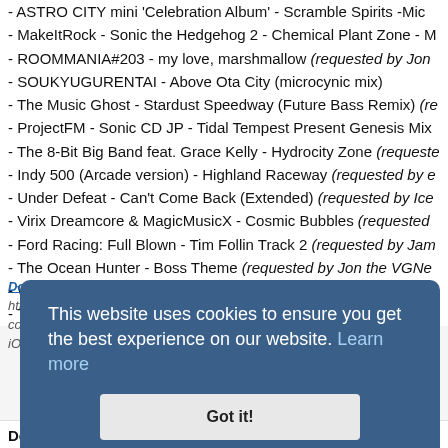- ASTRO CITY mini 'Celebration Album' - Scramble Spirits -Mic...
- MakeItRock - Sonic the Hedgehog 2 - Chemical Plant Zone - M...
- ROOMMANIA#203 - my love, marshmallow (requested by Jon...
- SOUKYUGURENTAI - Above Ota City (microcynic mix)
- The Music Ghost - Stardust Speedway (Future Bass Remix) (re...
- ProjectFM - Sonic CD JP - Tidal Tempest Present Genesis Mix...
- The 8-Bit Big Band feat. Grace Kelly - Hydrocity Zone (requeste...
- Indy 500 (Arcade version) - Highland Raceway (requested by e...
- Under Defeat - Can't Come Back (Extended) (requested by Ice...
- Virix Dreamcore & MagicMusicX - Cosmic Bubbles (requested...
- Ford Racing: Full Blown - Tim Follin Track 2 (requested by Jam...
- The Ocean Hunter - Boss Theme (requested by Jon the VGNe...
- World Snooker Challenge 2005 - Music
- The Lion King (8-bit version) - Circle of Life
Download/stream this show: [link] (compatible with all devices, compatible players and devices such as Apple Podcasts/iTunes for iOS/iPadOS and Pocketcasts/Pocketdict for Android)
[Figure (screenshot): Cookie consent overlay with dark blue background: 'This website uses cookies to ensure you get the best experience on our website. Learn more' and a 'Got it!' button]
Download from RadioSEGA Media - Download